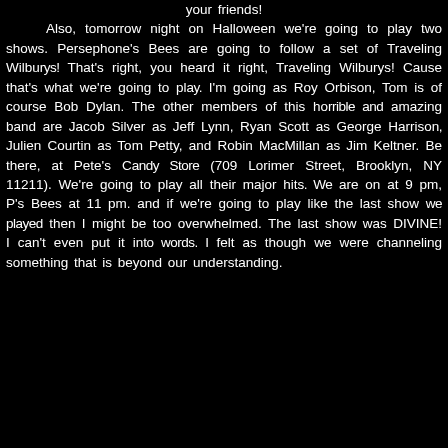your friends! Also, tomorrow night on Halloween we're going to play two shows. Persephone's Bees are going to follow a set of Traveling Wilburys! That's right, you heard it right, Traveling Wilburys! Cause that's what we're going to play. I'm going as Roy Orbison, Tom is of course Bob Dylan. The other members of this horrible and amazing band are Jacob Silver as Jeff Lynn, Ryan Scott as George Harrison, Julien Courtin as Tom Petty, and Robin MacMillan as Jim Keltner. Be there, at Pete's Candy Store (709 Lorimer Street, Brooklyn, NY 11211). We're going to play all their major hits. We are on at 9 pm, P's Bees at 11 pm. and if we're going to play like the last show we played then I might be too overwhelmed. The last show was DIVINE! I can't even put it into words. I felt as though we were channeling something that is beyond our understanding.